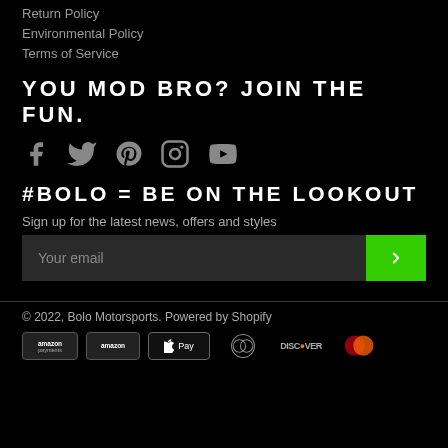Return Policy
Environmental Policy
Terms of Service
YOU MOD BRO? JOIN THE FUN.
[Figure (infographic): Social media icons: Facebook, Twitter, Pinterest, Instagram, YouTube]
#BOLO = BE ON THE LOOKOUT
Sign up for the latest news, offers and styles
Your email [input field with green submit button]
© 2022, Bolo Motorsports. Powered by Shopify
[Figure (infographic): Payment icons: Amazon Payments, Amazon, Apple Pay, Diners Club, Discover, MasterCard]